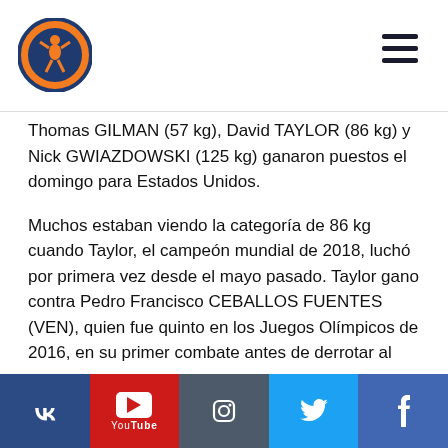Wrestling logo and navigation header
Thomas GILMAN (57 kg), David TAYLOR (86 kg) y Nick GWIAZDOWSKI (125 kg) ganaron puestos el domingo para Estados Unidos.
Muchos estaban viendo la categoría de 86 kg cuando Taylor, el campeón mundial de 2018, luchó por primera vez desde el mayo pasado. Taylor gano contra Pedro Francisco CEBALLOS FUENTES (VEN), quien fue quinto en los Juegos Olímpicos de 2016, en su primer combate antes de derrotar al campeón panamericano de 2020 Yurieski TORREBLANCA QUERALTA (CUB), 8-0, para calificar el peso para EE.UU.
Gilman, medallista de plata mundial de 2018, gano contra al dos
Social media links: VK, YouTube, Instagram, Twitter, Facebook